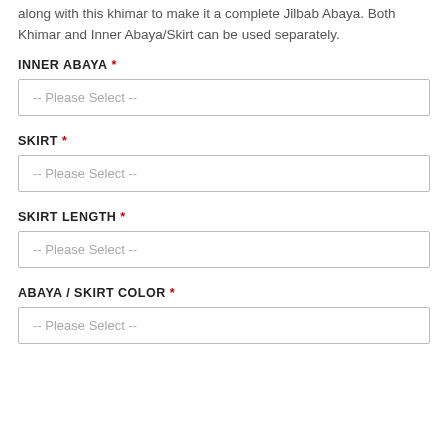along with this khimar to make it a complete Jilbab Abaya. Both Khimar and Inner Abaya/Skirt can be used separately.
INNER ABAYA *
-- Please Select --
SKIRT *
-- Please Select --
SKIRT LENGTH *
-- Please Select --
ABAYA / SKIRT COLOR *
-- Please Select --